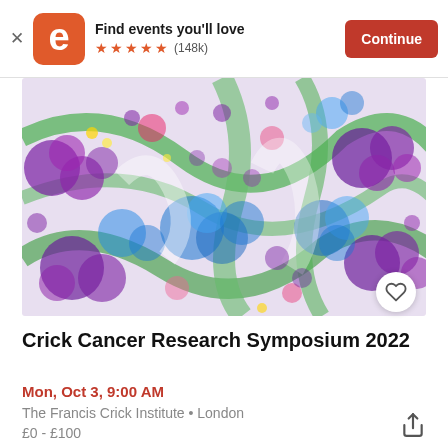Find events you'll love ★★★★★ (148k) Continue
[Figure (photo): Microscopy image of cancer tissue cells stained with multiple fluorescent colors — purple, blue, green, pink clusters of cells on a light background]
Crick Cancer Research Symposium 2022
Mon, Oct 3, 9:00 AM
The Francis Crick Institute • London
£0 - £100